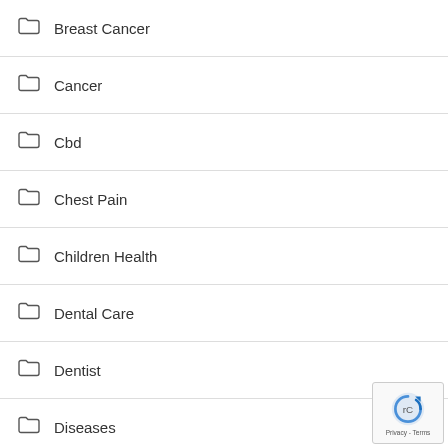Breast Cancer
Cancer
Cbd
Chest Pain
Children Health
Dental Care
Dentist
Diseases
Drug
Exercise